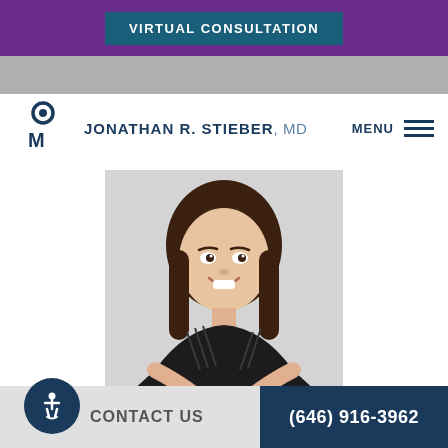VIRTUAL CONSULTATION
JONATHAN R. STIEBER, MD
MENU
[Figure (photo): Professional headshot of Jennifer Squicciarini, a woman with shoulder-length dark brown hair, smiling, wearing a black sleeveless top with striped mesh detail]
Jennifer Squicciarini
Practice Manager
CONTACT US  (646) 916-3962